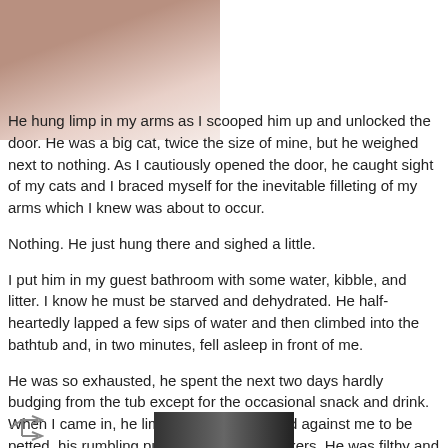[Figure (photo): Close-up photo of what appears to be a cat or animal, brownish/skin tones, top-left of page]
He hung limp in my arms as I scooped him up and unlocked the door. He was a big cat, twice the size of mine, but he weighed next to nothing. As I cautiously opened the door, he caught sight of my cats and I braced myself for the inevitable filleting of my arms which I knew was about to occur.

Nothing. He just hung there and sighed a little.

I put him in my guest bathroom with some water, kibble, and litter. I know he must be starved and dehydrated. He half-heartedly lapped a few sips of water and then climbed into the bathtub and, in two minutes, fell asleep in front of me.

He was so exhausted, he spent the next two days hardly budging from the tub except for the occasional snack and drink. When I came in, he limped over and leaned against me to be petted, his rumbling purr vibrating his whiskers. He was filthy and left brown pawprints all over the tub but I couldn't hold it against him as I raged against the human species who left him to this fate.
[Figure (photo): Small photo at the bottom center of the page, dark tones]